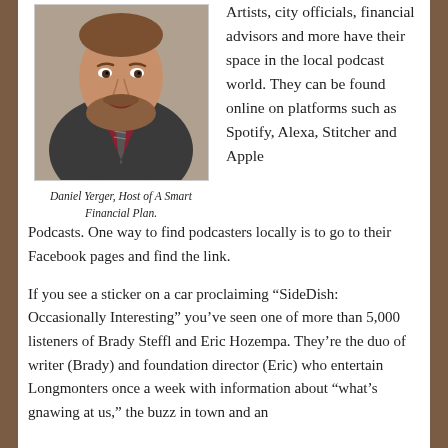[Figure (photo): Headshot of Daniel Yerger, a man with a beard wearing a dark suit jacket, red shirt, and striped tie, smiling.]
Daniel Yerger, Host of A Smart Financial Plan.
Artists, city officials, financial advisors and more have their space in the local podcast world. They can be found online on platforms such as Spotify, Alexa, Stitcher and Apple Podcasts. One way to find podcasters locally is to go to their Facebook pages and find the link.
If you see a sticker on a car proclaiming “SideDish: Occasionally Interesting” you’ve seen one of more than 5,000 listeners of Brady Steffl and Eric Hozempa. They’re the duo of writer (Brady) and foundation director (Eric) who entertain Longmonters once a week with information about “what’s gnawing at us,” the buzz in town and an